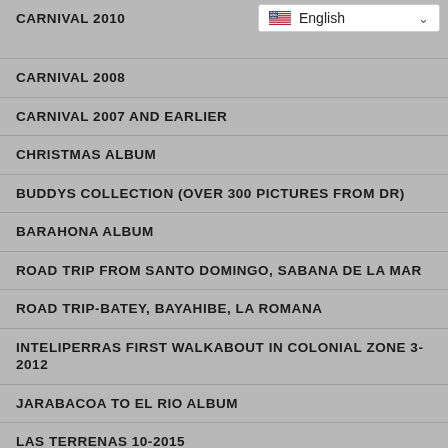[Figure (screenshot): Language selector dropdown showing US flag and 'English' with chevron]
CARNIVAL 2010
CARNIVAL 2008
CARNIVAL 2007 AND EARLIER
CHRISTMAS ALBUM
BUDDYS COLLECTION (OVER 300 PICTURES FROM DR)
BARAHONA ALBUM
ROAD TRIP FROM SANTO DOMINGO, SABANA DE LA MAR
ROAD TRIP-BATEY, BAYAHIBE, LA ROMANA
INTELIPERRAS FIRST WALKABOUT IN COLONIAL ZONE 3-2012
JARABACOA TO EL RIO ALBUM
LAS TERRENAS 10-2015
PROTEST CONTRA REFORMA FISCAL 11-2012
PRISA DE HIGUEY ALBUM, FESTIVAL ALTAGRACIA